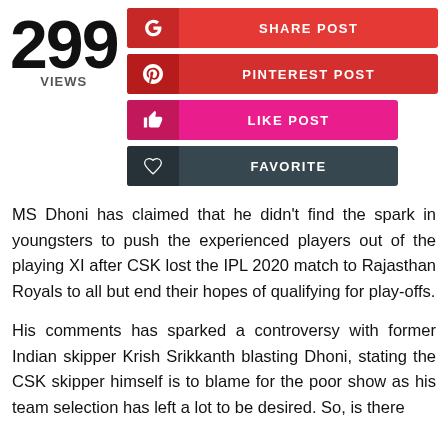299 VIEWS
[Figure (infographic): Social sharing buttons: SHARE POST (red, Google+), PINTEREST POST (dark red), LIKE POST (pink/magenta), FAVORITE (dark gray)]
MS Dhoni has claimed that he didn't find the spark in youngsters to push the experienced players out of the playing XI after CSK lost the IPL 2020 match to Rajasthan Royals to all but end their hopes of qualifying for play-offs.
His comments has sparked a controversy with former Indian skipper Krish Srikkanth blasting Dhoni, stating the CSK skipper himself is to blame for the poor show as his team selection has left a lot to be desired. So, is there